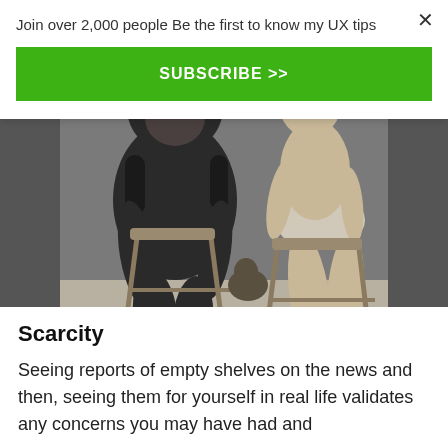Join over 2,000 people Be the first to know my UX tips
SUBSCRIBE >>
[Figure (photo): Black and white photo of a chimpanzee and a woman sitting in folding chairs outdoors]
Scarcity
Seeing reports of empty shelves on the news and then, seeing them for yourself in real life validates any concerns you may have had and